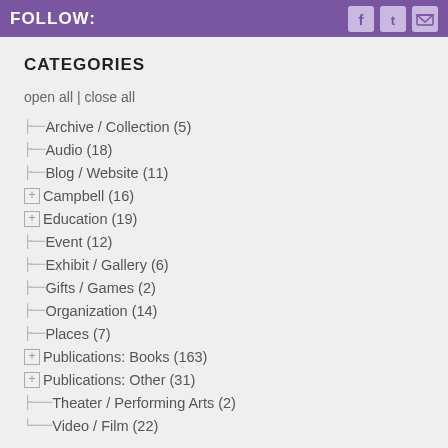FOLLOW:
CATEGORIES
open all | close all
Archive / Collection (5)
Audio (18)
Blog / Website (11)
Campbell (16)
Education (19)
Event (12)
Exhibit / Gallery (6)
Gifts / Games (2)
Organization (14)
Places (7)
Publications: Books (163)
Publications: Other (31)
Theater / Performing Arts (2)
Video / Film (22)